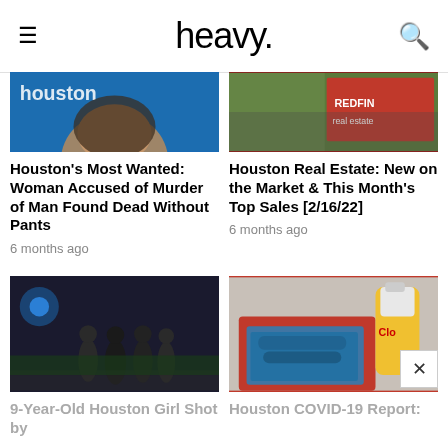heavy.
[Figure (photo): Cropped photo of a woman's face, Houston text visible on blue background]
Houston's Most Wanted: Woman Accused of Murder of Man Found Dead Without Pants
6 months ago
[Figure (photo): Redfin real estate sign in red background]
Houston Real Estate: New on the Market & This Month's Top Sales [2/16/22]
6 months ago
[Figure (photo): Police officers standing outside at night with blue lights]
9-Year-Old Houston Girl Shot by
[Figure (photo): Red bin with blue gloves and Clorox bottle]
Houston COVID-19 Report: